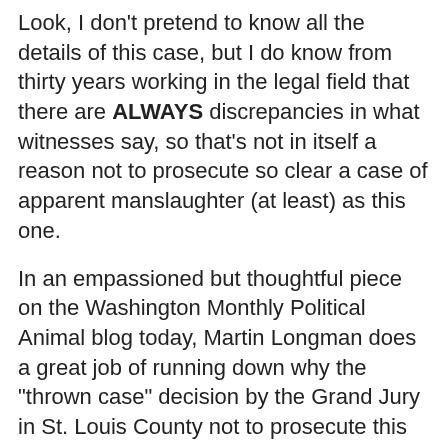Look, I don't pretend to know all the details of this case, but I do know from thirty years working in the legal field that there are ALWAYS discrepancies in what witnesses say, so that's not in itself a reason not to prosecute so clear a case of apparent manslaughter (at least) as this one.
In an empassioned but thoughtful piece on the Washington Monthly Political Animal blog today, Martin Longman does a great job of running down why the "thrown case" decision by the Grand Jury in St. Louis County not to prosecute this case of murder-by-cop constitutes a "Grave Injustice."
http://www.washingtonmonthly.com/.../a_grave_injustice053072....
Justice isn't a superfluous option in a free society. Without it, the foundations of anything remotely resembling a democratic form of government